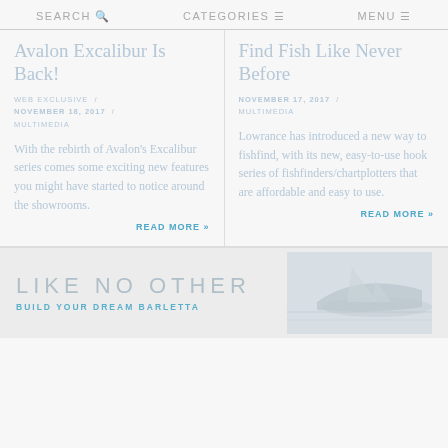SEARCH  CATEGORIES  MENU
Avalon Excalibur Is Back!
WEB EXCLUSIVE / NOVEMBER 18, 2017 / MULTIMEDIA
With the rebirth of Avalon's Excalibur series comes some exciting new features you might have started to notice around the showrooms.
READ MORE »
Find Fish Like Never Before
NOVEMBER 17, 2017 / MULTIMEDIA
Lowrance has introduced a new way to fishfind, with its new, easy-to-use hook series of fishfinders/chartplotters that are affordable and easy to use.
READ MORE »
[Figure (infographic): Advertisement banner: LIKE NO OTHER / BUILD YOUR DREAM BARLETTA with boat image on right]